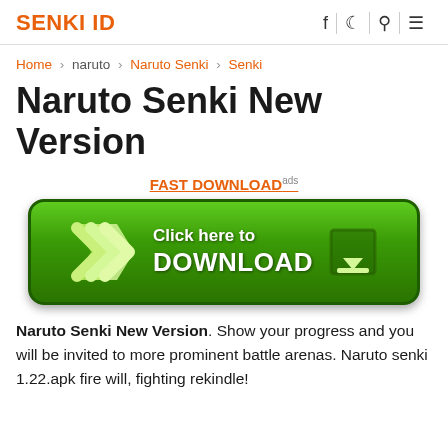SENKI ID
Home › naruto › Naruto Senki › Senki
Naruto Senki New Version
[Figure (other): Green download button with chevron arrows and download icon, labeled 'Click here to DOWNLOAD', with 'FAST DOWNLOAD' link above]
Naruto Senki New Version. Show your progress and you will be invited to more prominent battle arenas. Naruto senki 1.22.apk fire will, fighting rekindle!